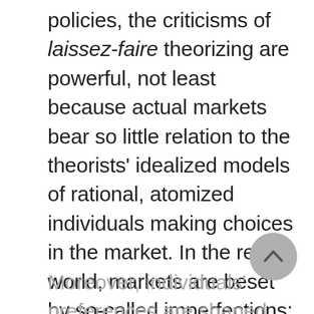policies, the criticisms of laissez-faire theorizing are powerful, not least because actual markets bear so little relation to the theorists' idealized models of rational, atomized individuals making choices in the market. In the real world, markets are beset by so-called imperfections: there are often monopolies of supply, imperfect information, few purchasers, external constraints, and so forth.
Moreover, individuals' preferences are shaped and limited by culture and